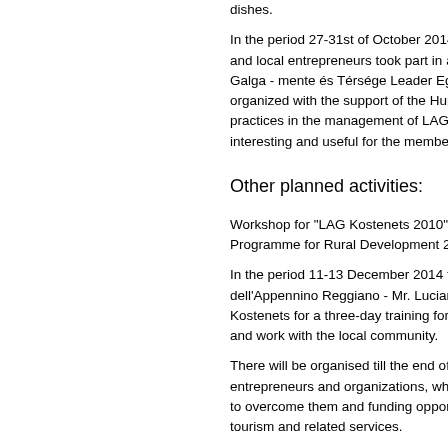dishes.
In the period 27-31st of October 2014 several and local entrepreneurs took part in a stu Galga - mente és Térsége Leader Egyesü organized with the support of the Hungarian practices in the management of LAG finan interesting and useful for the members of the
Other planned activities:
Workshop for "LAG Kostenets 2010" and p Programme for Rural Development 2014-20
In the period 11-13 December 2014 two re dell'Appennino Reggiano - Mr. Luciano C Kostenets for a three-day training for the im and work with the local community.
There will be organised till the end of entrepreneurs and organizations, who discu to overcome them and funding opportuniti tourism and related services.
On 27-28 November 2014 will be held a two business initiative of local leaders.
2013